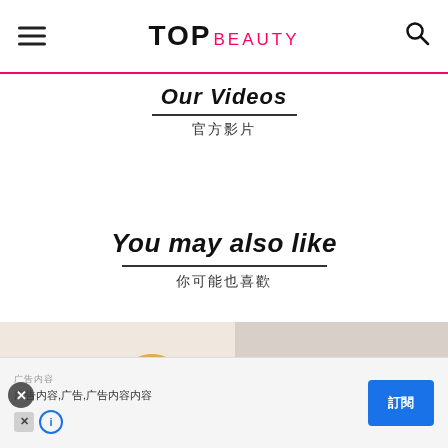TOP BEAUTY
Our Videos / 官方影片
You may also like / 你可能也喜歡
[Figure (photo): Two sets of hands showing nail art designs. Left: colorful gradient nails with a checkered pattern nail. Right: pastel blue, purple, yellow and red/pink nails on a soft background. Pink banner overlay reads: 抓住夏天的尾巴！and 绚纷配色成大热超熱]
广告 / Ad banner with Chinese text and blue button